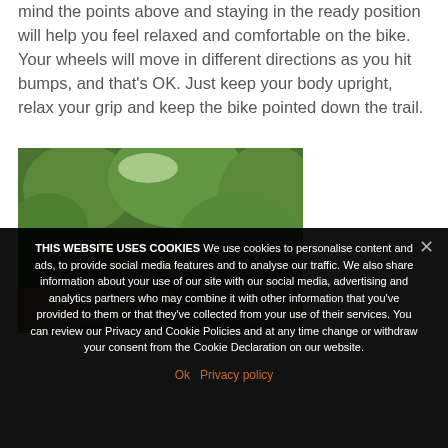mind the points above and staying in the ready position will help you feel relaxed and comfortable on the bike. Your wheels will move in different directions as you hit bumps, and that's OK. Just keep your body upright, relax your grip and keep the bike pointed down the trail.
[Figure (photo): A person riding a mountain bike on a trail surrounded by dense green trees and bushes]
THIS WEBSITE USES COOKIES We use cookies to personalise content and ads, to provide social media features and to analyse our traffic. We also share information about your use of our site with our social media, advertising and analytics partners who may combine it with other information that you've provided to them or that they've collected from your use of their services. You can review our Privacy and Cookie Policies and at any time change or withdraw your consent from the Cookie Declaration on our website. Ok  Privacy policy